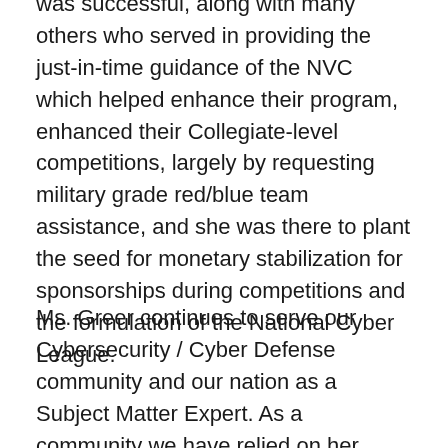was successful, along with many others who served in providing the just-in-time guidance of the NVC which helped enhance their program, enhanced their Collegiate-level competitions, largely by requesting military grade red/blue team assistance, and she was there to plant the seed for monetary stabilization for sponsorships during competitions and the formulation of the National Cyber League.
Ms. Greer continues to serve our Cybersecurity / Cyber Defense community and our nation as a Subject Matter Expert. As a community we have relied on her leadership, her vision and her creativity in addressing some of our nation's hard problems to address the needs and skillsets of not only trained cybersecurity professionals but to also increase the awareness of citizens and students